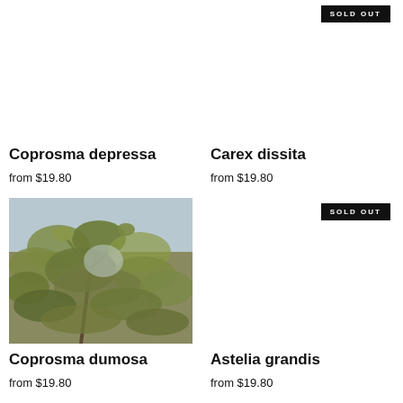[Figure (photo): Blank/white image area for Coprosma depressa product (top portion cut off)]
Coprosma depressa
from $19.80
[Figure (photo): Blank/white image area for Carex dissita product with SOLD OUT badge (top portion cut off)]
Carex dissita
from $19.80
[Figure (photo): Photo of Coprosma dumosa plant showing branches with small yellow-green leaves against a light sky background]
Coprosma dumosa
from $19.80
[Figure (photo): Blank/white image area for Astelia grandis product with SOLD OUT badge]
Astelia grandis
from $19.80